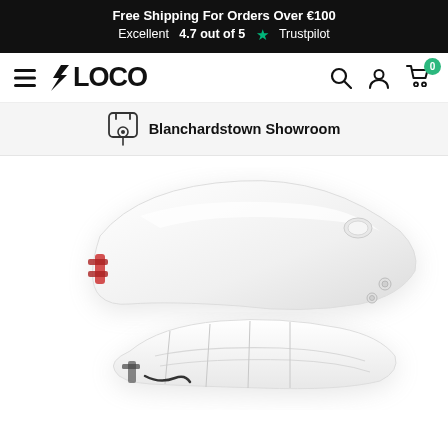Free Shipping For Orders Over €100
Excellent 4.7 out of 5 ★ Trustpilot
[Figure (logo): LOCO brand logo with hamburger menu icon on left and search, user account, and cart icons on right (cart shows 0 badge)]
Blanchardstown Showroom
[Figure (photo): White electric scooter fender/mudguard component shown from above against white background, with mounting hardware visible]